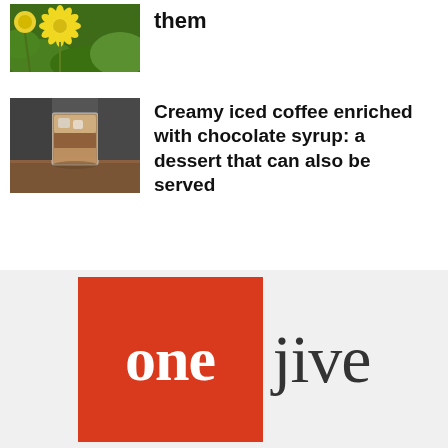them
[Figure (photo): Dandelion flowers with yellow blooms against green foliage background]
[Figure (photo): Glass of creamy iced coffee with chocolate syrup on a wooden surface with dark background]
Creamy iced coffee enriched with chocolate syrup: a dessert that can also be served
[Figure (logo): OneJive logo: red square with white 'one' text followed by dark grey 'jive' text]